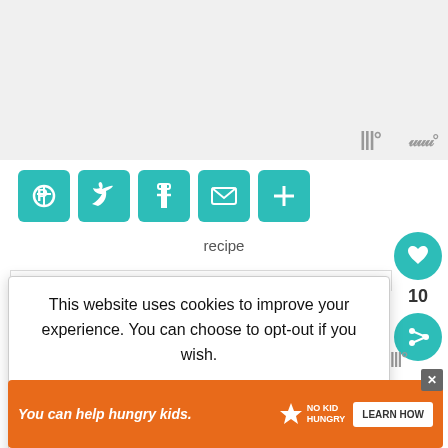[Figure (screenshot): Light gray top image/recipe photo area with website logo Wm° in bottom-right corner]
[Figure (infographic): Row of 5 teal social share icon buttons: Pinterest, Twitter, Facebook, Email, More (+)]
recipe
[Figure (infographic): Teal heart/like button with count 10, teal share button on right sidebar]
10
[Figure (screenshot): Cookie consent dialog: 'This website uses cookies to improve your experience. You can choose to opt-out if you wish.' with Accept and Reject buttons and Read More link]
darth vader
WHAT'S NEXT → Star Wars Gift Guide
[Figure (infographic): Orange advertisement banner: 'You can help hungry kids.' with No Kid Hungry logo and LEARN HOW button, with X close button]
[Figure (logo): Wm° logo in gray at bottom right]